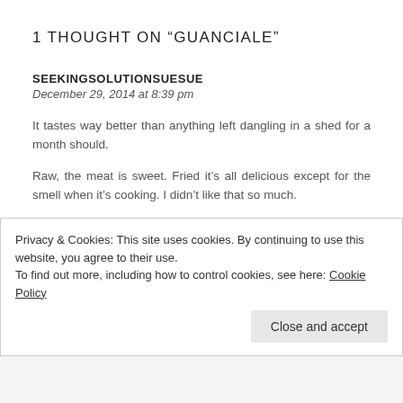1 THOUGHT ON "GUANCIALE"
SEEKINGSOLUTIONSUESUE
December 29, 2014 at 8:39 pm
It tastes way better than anything left dangling in a shed for a month should.
Raw, the meat is sweet. Fried it's all delicious except for the smell when it's cooking. I didn't like that so much.
This house desperately needs an extractor over the stove, given what Dave does out there, but with a ceiling only inches above our heads I can't see how we can have one.
Privacy & Cookies: This site uses cookies. By continuing to use this website, you agree to their use.
To find out more, including how to control cookies, see here: Cookie Policy
Close and accept